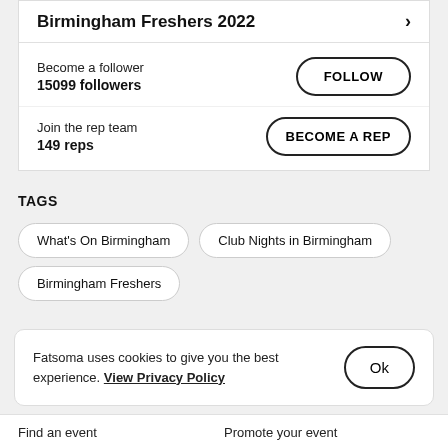Birmingham Freshers 2022
Become a follower
15099 followers
Join the rep team
149 reps
TAGS
What's On Birmingham
Club Nights in Birmingham
Birmingham Freshers
Fatsoma uses cookies to give you the best experience. View Privacy Policy
Find an event   Promote your event